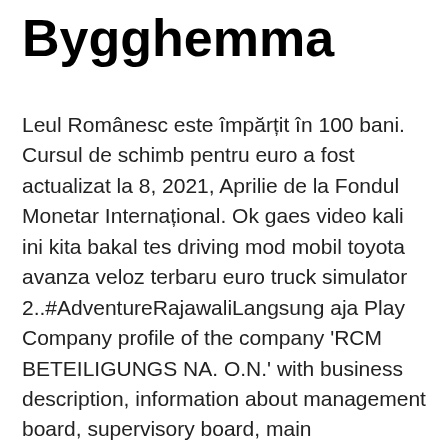Bygghemma
Leul Românesc este împărțit în 100 bani. Cursul de schimb pentru euro a fost actualizat la 8, 2021, Aprilie de la Fondul Monetar Internațional. Ok gaes video kali ini kita bakal tes driving mod mobil toyota avanza veloz terbaru euro truck simulator 2..#AdventureRajawaliLangsung aja Play Company profile of the company 'RCM BETEILIGUNGS NA. O.N.' with business description, information about management board, supervisory board, main shareholders and investor relations SCS recently updated both games, American Truck Simulator and Euro Truck Simulator 2, to version 1.40. The main challenge for the compatibility updates of our ProMods maps was the completely overhauled